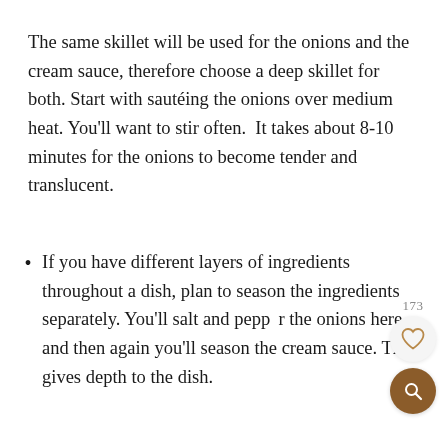The same skillet will be used for the onions and the cream sauce, therefore choose a deep skillet for both. Start with sautéing the onions over medium heat. You'll want to stir often.  It takes about 8-10 minutes for the onions to become tender and translucent.
If you have different layers of ingredients throughout a dish, plan to season the ingredients separately. You'll salt and pepper the onions here and then again you'll season the cream sauce. This gives depth to the dish.